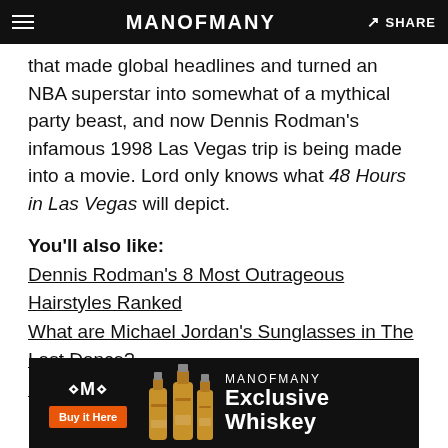MANOFMANY — SHARE
that made global headlines and turned an NBA superstar into somewhat of a mythical party beast, and now Dennis Rodman's infamous 1998 Las Vegas trip is being made into a movie. Lord only knows what 48 Hours in Las Vegas will depict.
You'll also like:
Dennis Rodman's 8 Most Outrageous Hairstyles Ranked
What are Michael Jordan's Sunglasses in The Last Dance?
25 Best Jordans Of All Time
[Figure (screenshot): MANOFMANY Exclusive Whiskey advertisement banner with bottle illustrations and 'Buy it Here' orange button]